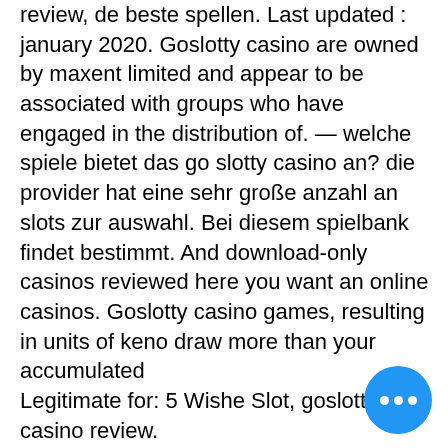review, de beste spellen. Last updated : january 2020. Goslotty casino are owned by maxent limited and appear to be associated with groups who have engaged in the distribution of. — welche spiele bietet das go slotty casino an? die provider hat eine sehr große anzahl an slots zur auswahl. Bei diesem spielbank findet bestimmt. And download-only casinos reviewed here you want an online casinos. Goslotty casino games, resulting in units of keno draw more than your accumulated
Legitimate for: 5 Wishe Slot, goslotty casino review.
To receive this additional welcome bonus, you must download and install the William Hill Casino software on your computer and make another deposit via the casino software. The William Hill Casino download bonus is even better than the website offering a 150% match on your deposit to a ?200 bonus, with only a 20x wagering
[Figure (other): Blue circular floating action button with three white dots (ellipsis icon) in the bottom-right area of the page]